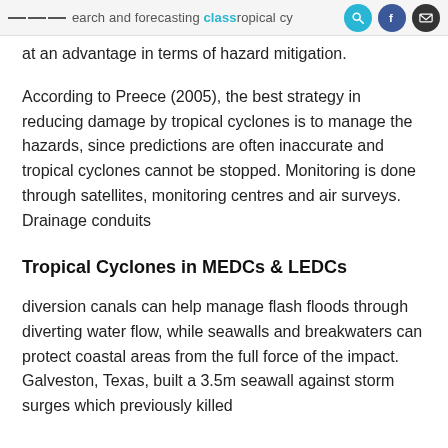earch and forecasting CLASS ropical cy...
at an advantage in terms of hazard mitigation.
According to Preece (2005), the best strategy in reducing damage by tropical cyclones is to manage the hazards, since predictions are often inaccurate and tropical cyclones cannot be stopped. Monitoring is done through satellites, monitoring centres and air surveys. Drainage conduits
Tropical Cyclones in MEDCs & LEDCs
diversion canals can help manage flash floods through diverting water flow, while seawalls and breakwaters can protect coastal areas from the full force of the impact. Galveston, Texas, built a 3.5m seawall against storm surges which previously killed